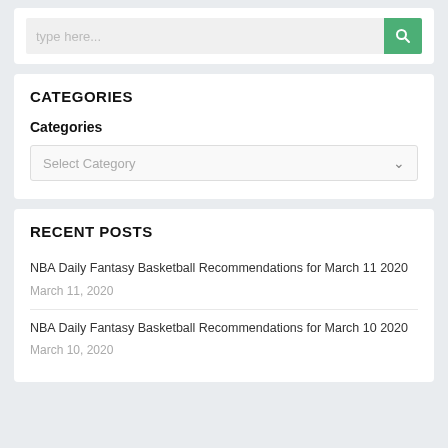[Figure (screenshot): Search input box with green search button icon]
CATEGORIES
Categories
[Figure (screenshot): Select Category dropdown box]
RECENT POSTS
NBA Daily Fantasy Basketball Recommendations for March 11 2020 March 11, 2020
NBA Daily Fantasy Basketball Recommendations for March 10 2020 March 10, 2020